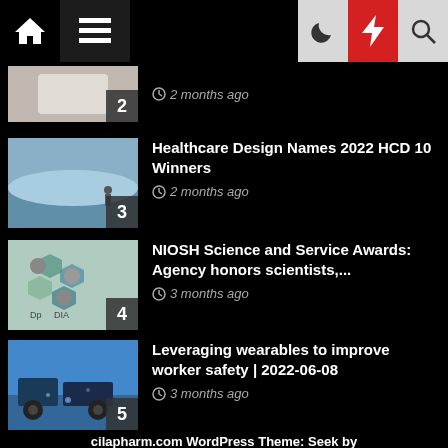Navigation bar with home, menu, moon, bolt, search icons
2 · 2 months ago (partial item, image cropped)
3 · Healthcare Design Names 2022 HCD 10 Winners · 2 months ago
4 · NIOSH Science and Service Awards: Agency honors scientists,... · 3 months ago
5 · Leveraging wearables to improve worker safety | 2022-06-08 · 3 months ago
cilapharm.com WordPress Theme: Seek by Themeinwp...